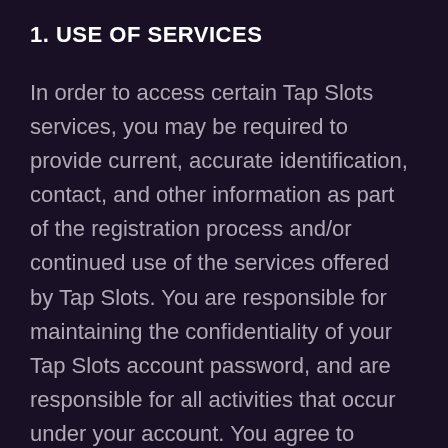1. USE OF SERVICES
In order to access certain Tap Slots services, you may be required to provide current, accurate identification, contact, and other information as part of the registration process and/or continued use of the services offered by Tap Slots. You are responsible for maintaining the confidentiality of your Tap Slots account password, and are responsible for all activities that occur under your account. You agree to immediately notify Tap Slots of any unauthorized use of your password or account or any other breach of security. Tap Slots cannot and will not be liable for any loss or